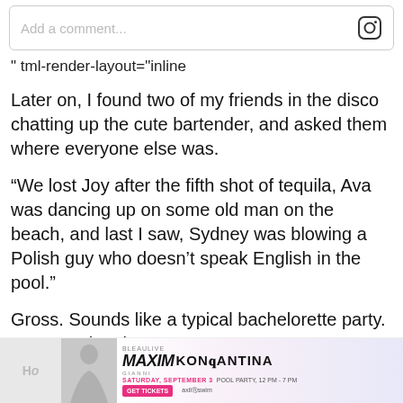[Figure (screenshot): Instagram comment input box with placeholder text 'Add a comment...' and Instagram logo icon on the right]
" tml-render-layout="inline
Later on, I found two of my friends in the disco chatting up the cute bartender, and asked them where everyone else was.
“We lost Joy after the fifth shot of tequila, Ava was dancing up on some old man on the beach, and last I saw, Sydney was blowing a Polish guy who doesn’t speak English in the pool.”
Gross. Sounds like a typical bachelorette party. But way sloppier.
[Figure (screenshot): Advertisement banner for BLEAULIVE MAXIM KONSTANTINA GIANNI event - Saturday, September 3, Pool Party 12 PM - 7 PM, with GET TICKETS button and axil swim logo]